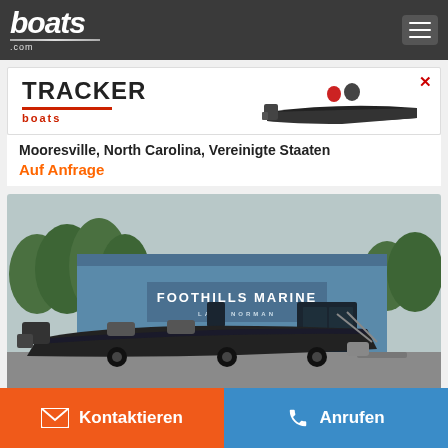boats.com
[Figure (photo): Tracker Boats advertisement banner with brand logo and fishing boat image]
Mooresville, North Carolina, Vereinigte Staaten
Auf Anfrage
[Figure (photo): Foothills Marine Lake Norman dealership building with a dark bass boat on trailer in the foreground]
Kontaktieren
Anrufen